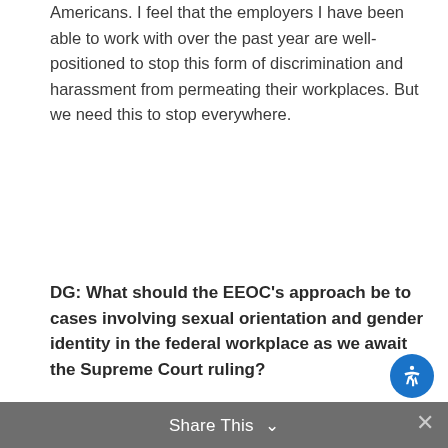Americans. I feel that the employers I have been able to work with over the past year are well-positioned to stop this form of discrimination and harassment from permeating their workplaces. But we need this to stop everywhere.
DG: What should the EEOC's approach be to cases involving sexual orientation and gender identity in the federal workplace as we await the Supreme Court ruling?
CF: Keep going until the Supreme Court rules. The EEOC has continued to accept charges from LGBT employees and applicants who allege employment discrimination on the basis of sexual orientation and gender identity. That is precisely what the agency should do, since it has not voted to change its position on this issue. The question is whether the Supreme Court will read the law as the EEOC did. That is what we are all waiting to see.
Share This